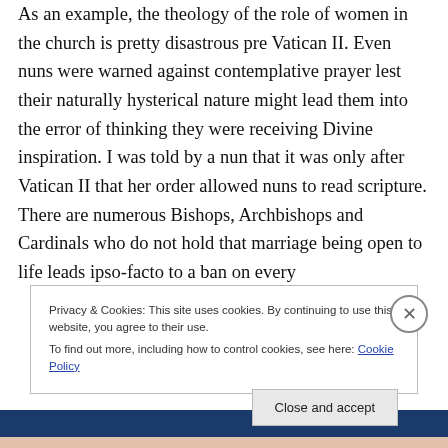As an example, the theology of the role of women in the church is pretty disastrous pre Vatican II. Even nuns were warned against contemplative prayer lest their naturally hysterical nature might lead them into the error of thinking they were receiving Divine inspiration. I was told by a nun that it was only after Vatican II that her order allowed nuns to read scripture. There are numerous Bishops, Archbishops and Cardinals who do not hold that marriage being open to life leads ipso-facto to a ban on every
Privacy & Cookies: This site uses cookies. By continuing to use this website, you agree to their use.
To find out more, including how to control cookies, see here: Cookie Policy
Close and accept